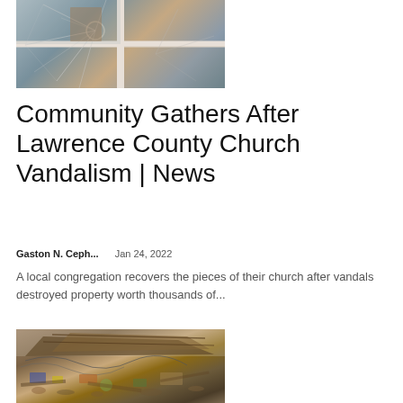[Figure (photo): Cracked window glass with spider-web fracture pattern, window frame visible]
Community Gathers After Lawrence County Church Vandalism | News
Gaston N. Ceph...    Jan 24, 2022
A local congregation recovers the pieces of their church after vandals destroyed property worth thousands of...
[Figure (photo): Storm or disaster debris showing collapsed roof structure, twisted metal, and scattered rubbish]